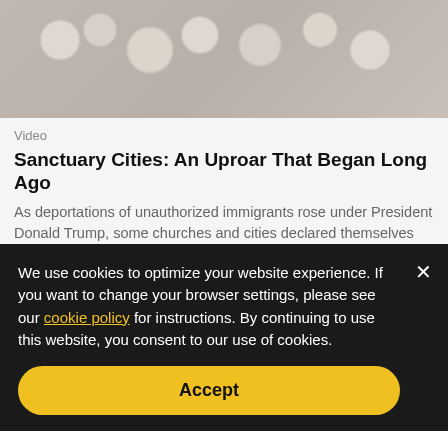[Figure (photo): Top portion of an image showing decorative lace or floral fabric in grey tones]
Video
Sanctuary Cities: An Uproar That Began Long Ago
As deportations of unauthorized immigrants rose under President Donald Trump, some churches and cities declared themselves sanctuaries and shielded migrants from immigration enforcement.
[Figure (photo): Photo of person looking through barbed wire fence with blurred background of trees and blue sky]
We use cookies to optimize your website experience. If you want to change your browser settings, please see our cookie policy for instructions. By continuing to use this website, you consent to our use of cookies.
Accept